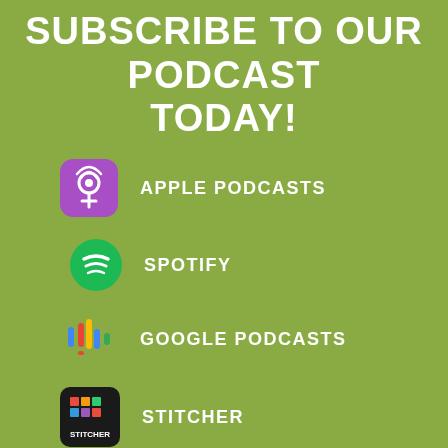SUBSCRIBE TO OUR PODCAST TODAY!
APPLE PODCASTS
SPOTIFY
GOOGLE PODCASTS
STITCHER